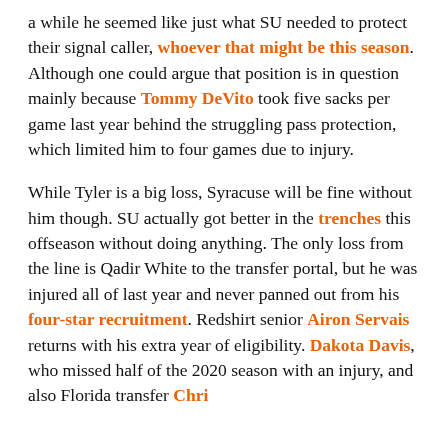a while he seemed like just what SU needed to protect their signal caller, whoever that might be this season. Although one could argue that position is in question mainly because Tommy DeVito took five sacks per game last year behind the struggling pass protection, which limited him to four games due to injury.
While Tyler is a big loss, Syracuse will be fine without him though. SU actually got better in the trenches this offseason without doing anything. The only loss from the line is Qadir White to the transfer portal, but he was injured all of last year and never panned out from his four-star recruitment. Redshirt senior Airon Servais returns with his extra year of eligibility. Dakota Davis, who missed half of the 2020 season with an injury, and also Florida transfer Chri...